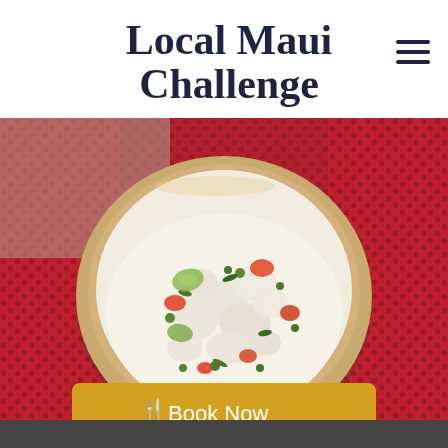Local Maui Challenge
[Figure (photo): A ceramic bowl filled with ceviche-style fish dish with diced white fish, tomatoes, green onions, peas, and vegetables in a creamy sauce, placed on a red waffle-textured cloth]
Book Now